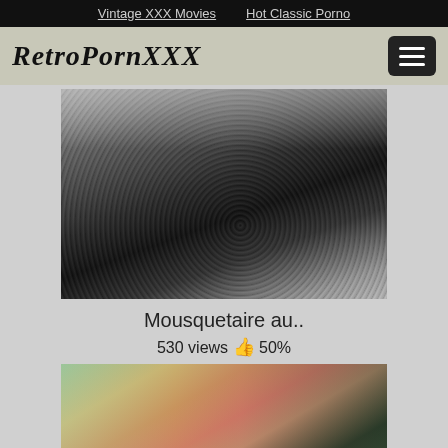Vintage XXX Movies   Hot Classic Porno
RetroPornXXX
[Figure (photo): Black and white grainy vintage photo thumbnail]
Mousquetaire au..
530 views 👍 50%
[Figure (photo): Color vintage video thumbnail showing a blonde woman]